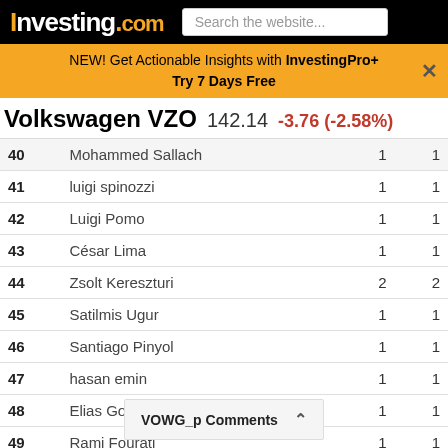Investing.com
NEW! Get Actionable Insights with InvestingPro+ Try 7 Days Free
Volkswagen VZO  142.14  -3.76 (-2.58%)
| # | Name |  |  |
| --- | --- | --- | --- |
| 40 | Mohammed Sallach | 1 | 1 |
| 41 | luigi spinozzi | 1 | 1 |
| 42 | Luigi Pomo | 1 | 1 |
| 43 | César Lima | 1 | 1 |
| 44 | Zsolt Kereszturi | 2 | 2 |
| 45 | Satilmis Ugur | 1 | 1 |
| 46 | Santiago Pinyol | 1 | 1 |
| 47 | hasan emin | 1 | 1 |
| 48 | Elias Gonzalez | 1 | 1 |
| 49 | Rami Fourati | 1 | 1 |
| 50 | Marco Tosetti | 4 | 4 |
VOWG_p Comments